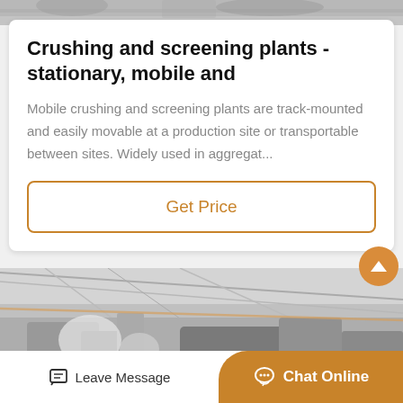[Figure (photo): Top partial image of an industrial/machinery scene, grayscale, partially cropped]
Crushing and screening plants - stationary, mobile and
Mobile crushing and screening plants are track-mounted and easily movable at a production site or transportable between sites. Widely used in aggregat...
Get Price
[Figure (photo): Industrial interior photo showing factory/plant equipment, overhead structures, conveyor or machinery in grayscale]
Leave Message
Chat Online